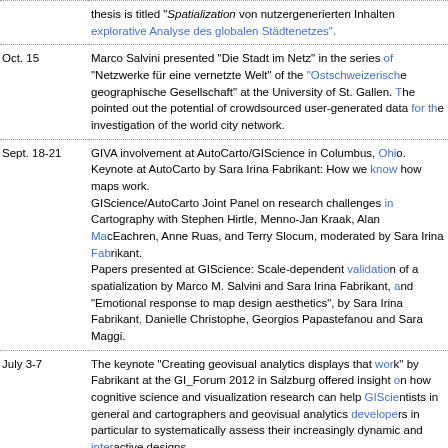thesis is titled "Spatialization von nutzergenerierten Inhalten explorative Analyse des globalen Städtenetzes".
Oct. 15 — Marco Salvini presented "Die Stadt im Netz" in the series of "Netzwerke für eine vernetzte Welt" of the "Ostschweizerische geographische Gesellschaft" at the University of St. Gallen. Pointed out the potential of crowdsourced user-generated data for the investigation of the world city network.
Sept. 18-21 — GIVA involvement at AutoCarto/GIScience in Columbus, Ohio. Keynote at AutoCarto by Sara Irina Fabrikant: How we know how maps work. GIScience/AutoCarto Joint Panel on research challenges in Cartography with Stephen Hirtle, Menno-Jan Kraak, Alan MacEachren, Anne Ruas, and Terry Slocum, moderated by Sara Irina Fabrikant. Papers presented at GIScience: Scale-dependent validation of a spatialization by Marco M. Salvini and Sara Irina Fabrikant, and "Emotional response to map design aesthetics", by Sara Irina Fabrikant, Danielle Christophe, Georgios Papastefanou and Sara Maggi.
July 3-7 — The keynote "Creating geovisual analytics displays that work" by Fabrikant at the GI_Forum 2012 in Salzburg offered insight on how cognitive science and visualization research can help GIScientists in general and cartographers and geovisual analytics developers in particular to systematically assess their increasingly dynamic and interactive designs.
June — Marco Salvini and Sara Fabrikant's extended abstract submitted...